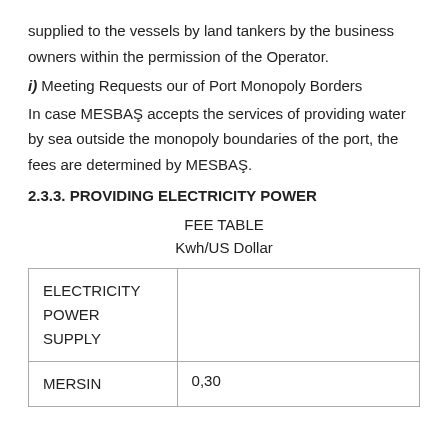supplied to the vessels by land tankers by the business owners within the permission of the Operator.
i) Meeting Requests our of Port Monopoly Borders
In case MESBAŞ accepts the services of providing water by sea outside the monopoly boundaries of the port, the fees are determined by MESBAŞ.
2.3.3. PROVIDING ELECTRICITY POWER
FEE TABLE
Kwh/US Dollar
|  |  |
| --- | --- |
| ELECTRICITY POWER SUPPLY |  |
| MERSIN | 0,30 |